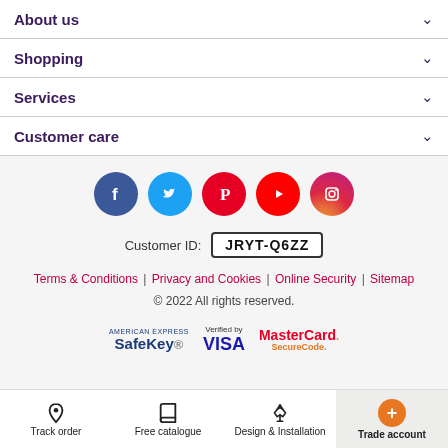About us
Shopping
Services
Customer care
[Figure (illustration): Social media icons: Facebook, Twitter, Pinterest, YouTube, Instagram]
Customer ID: JRYT-Q6ZZ
Terms & Conditions | Privacy and Cookies | Online Security | Sitemap
© 2022 All rights reserved.
[Figure (logo): Payment badges: American Express SafeKey, Verified by VISA, MasterCard SecureCode]
Track order | Free catalogue | Design & Installation | Trade account